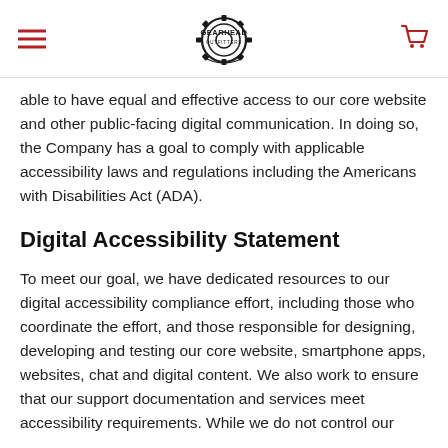Gearhead — navigation header with hamburger menu, Gearhead logo, and cart icon
able to have equal and effective access to our core website and other public-facing digital communication. In doing so, the Company has a goal to comply with applicable accessibility laws and regulations including the Americans with Disabilities Act (ADA).
Digital Accessibility Statement
To meet our goal, we have dedicated resources to our digital accessibility compliance effort, including those who coordinate the effort, and those responsible for designing, developing and testing our core website, smartphone apps, websites, chat and digital content. We also work to ensure that our support documentation and services meet accessibility requirements. While we do not control our